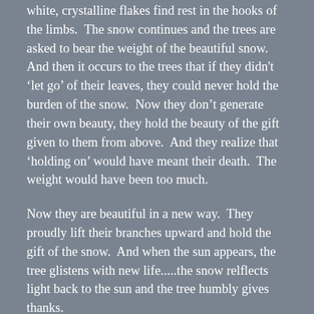white, crystalline flakes find rest in the hooks of the limbs.  The snow continues and the trees are asked to bear the weight of the beautiful snow.  And then it occurs to the trees that if they didn't 'let go' of their leaves, they could never hold the burden of the snow.  Now they don't generate their own beauty, they hold the beauty of the gift given to them from above.  And they realize that 'holding on' would have meant their death.  The weight would have been too much.
Now they are beautiful in a new way.  They proudly lift their branches upward and hold the gift of the snow.  And when the sun appears, the tree glistens with new life.....the snow relflects light back to the sun and the tree humbly gives thanks.
Share this: